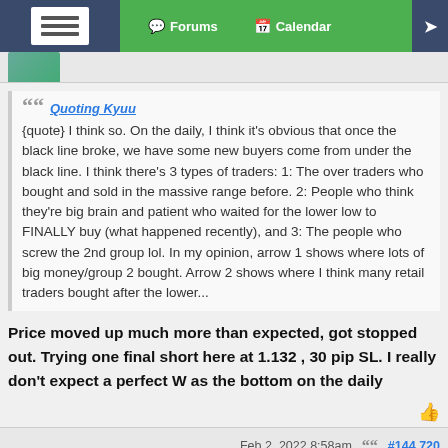Forums | Calendar
Quoting Kyuu
{quote} I think so. On the daily, I think it's obvious that once the black line broke, we have some new buyers come from under the black line. I think there's 3 types of traders: 1: The over traders who bought and sold in the massive range before. 2: People who think they're big brain and patient who waited for the lower low to FINALLY buy (what happened recently), and 3: The people who screw the 2nd group lol. In my opinion, arrow 1 shows where lots of big money/group 2 bought. Arrow 2 shows where I think many retail traders bought after the lower...
Price moved up much more than expected, got stopped out. Trying one final short here at 1.132 , 30 pip SL. I really don't expect a perfect W as the bottom on the daily
Feb 2, 2022 8:58am   #144,720
1  ←  Page 7236  →  7749